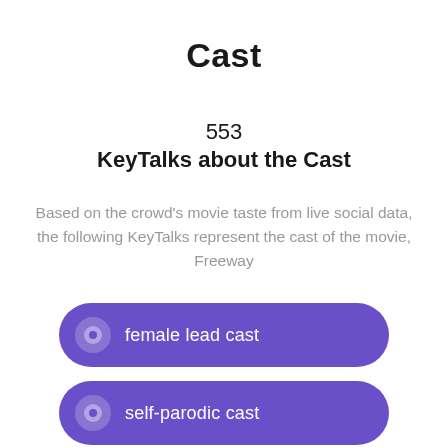Cast
553
KeyTalks about the Cast
Based on the crowd's movie taste from live social data, the following KeyTalks represent the cast of the movie, Freeway
female lead cast
self-parodic cast
despicable acting